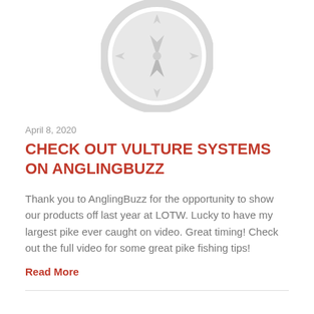[Figure (illustration): A light gray compass icon/logo centered at the top of the page, showing compass needle pointing north, with cardinal direction markers.]
April 8, 2020
CHECK OUT VULTURE SYSTEMS ON ANGLINGBUZZ
Thank you to AnglingBuzz for the opportunity to show our products off last year at LOTW. Lucky to have my largest pike ever caught on video. Great timing! Check out the full video for some great pike fishing tips!
Read More